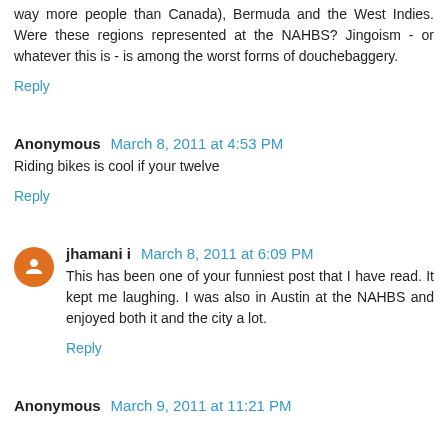way more people than Canada), Bermuda and the West Indies. Were these regions represented at the NAHBS? Jingoism - or whatever this is - is among the worst forms of douchebaggery.
Reply
Anonymous March 8, 2011 at 4:53 PM
Riding bikes is cool if your twelve
Reply
jhamani i March 8, 2011 at 6:09 PM
This has been one of your funniest post that I have read. It kept me laughing. I was also in Austin at the NAHBS and enjoyed both it and the city a lot.
Reply
Anonymous March 9, 2011 at 11:21 PM